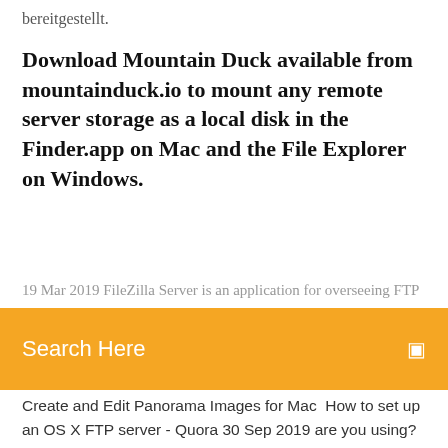bereitgestellt.
Download Mountain Duck available from mountainduck.io to mount any remote server storage as a local disk in the Finder.app on Mac and the File Explorer on Windows.
19 Mar 2019 FileZilla Server is an application for overseeing FTP
[Figure (screenshot): Orange search bar UI element with text 'Search Here' and a search icon on the right]
Create and Edit Panorama Images for Mac  How to set up an OS X FTP server - Quora 30 Sep 2019 are you using? Since macOS is Unix, most versions shipped with ftpd. You configure it to launch at startup by opening a terminal and typing [code]sudo -s launchctl load -w answer views. You can just use Filezilla Server. FileZilla voor Mac - Download FileZilla, gratis download Mac. FileZilla Snelle overdracht; Kan met grote bestanden overweg; Onthoudt server-adressen Besturingssysteem. Mac OS X  FileZilla Pro - App Store - Apple